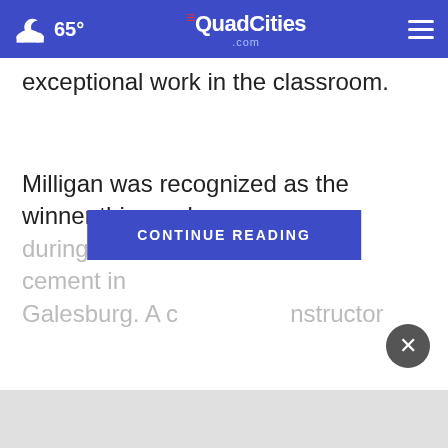65° TheQuadCities.com
exceptional work in the classroom.
Milligan was recognized as the winner this week during Sandbu[rg's comme]cement in Galesburg. A c[elebration instructor]
[Figure (screenshot): CONTINUE READING button overlay in blue]
[Figure (screenshot): Close (X) button, dark grey circle with white X]